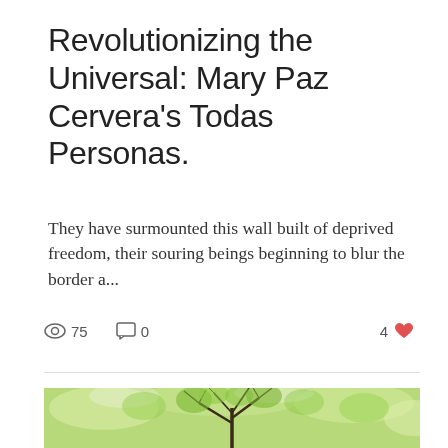Revolutionizing the Universal: Mary Paz Cervera's Todas Personas.
They have surmounted this wall built of deprived freedom, their souring beings beginning to blur the border a...
75 views  0 comments  4 likes
[Figure (photo): Painting of a green tree with dark branches against a light green and white background, cropped to show upper portion of tree canopy.]